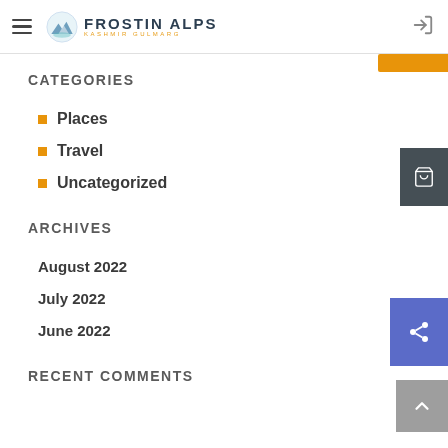FROSTIN ALPS
CATEGORIES
Places
Travel
Uncategorized
ARCHIVES
August 2022
July 2022
June 2022
RECENT COMMENTS